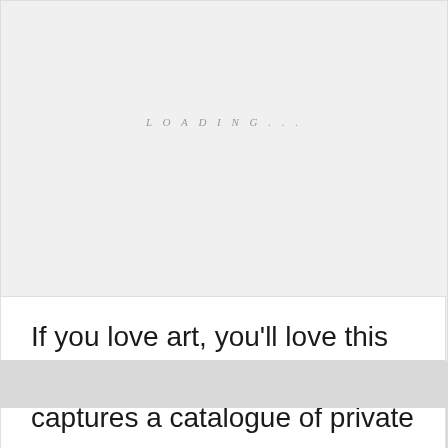LOADING...
ADVERTISMENT
If you love art, you'll love this page. LA Based Carl Larsson captures a catalogue of private collections, and shares them with the world.